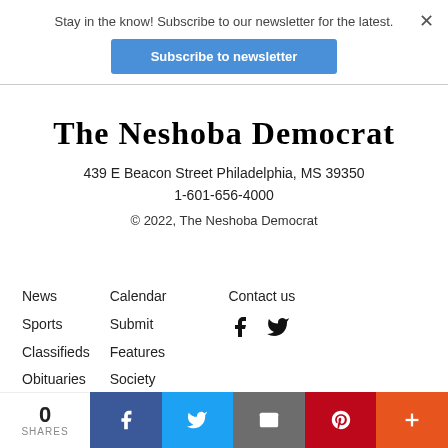Stay in the know! Subscribe to our newsletter for the latest.
Subscribe to newsletter
THE NESHOBA DEMOCRAT
439 E Beacon Street Philadelphia, MS 39350
1-601-656-4000
© 2022, The Neshoba Democrat
News
Sports
Classifieds
Obituaries
Editorials
Calendar
Submit
Features
Society
Public Notices
Contact us
0 SHARES